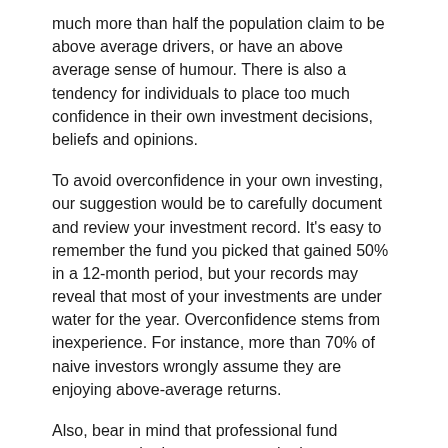much more than half the population claim to be above average drivers, or have an above average sense of humour. There is also a tendency for individuals to place too much confidence in their own investment decisions, beliefs and opinions.
To avoid overconfidence in your own investing, our suggestion would be to carefully document and review your investment record. It's easy to remember the fund you picked that gained 50% in a 12-month period, but your records may reveal that most of your investments are under water for the year. Overconfidence stems from inexperience. For instance, more than 70% of naive investors wrongly assume they are enjoying above-average returns.
Also, bear in mind that professional fund managers who have access to the best investment industry reports and computational models in the business can still struggle to achieve market-beating returns. The best fund managers know that each investment day presents a new set of challenges and that investment techniques constantly need refining. Just about every overconfident investor is only a trade away from a very humbling wake-up call.
The important thing to remember is to always look at your total portfolio